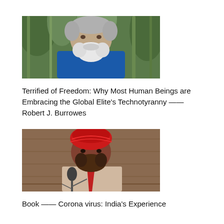[Figure (photo): Photo of an elderly man with white hair and white beard wearing a blue shirt, standing in front of green foliage/bamboo background]
Terrified of Freedom: Why Most Human Beings are Embracing the Global Elite's Technotyranny —— Robert J. Burrowes
[Figure (photo): Photo of a man wearing a red turban and red tie, speaking at a microphone, with a wooden panel background]
Book —— Corona virus: India's Experience